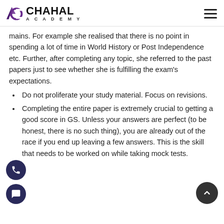CHAHAL ACADEMY
mains. For example she realised that there is no point in spending a lot of time in World History or Post Independence etc. Further, after completing any topic, she referred to the past papers just to see whether she is fulfilling the exam's expectations.
Do not proliferate your study material. Focus on revisions.
Completing the entire paper is extremely crucial to getting a good score in GS. Unless your answers are perfect (to be honest, there is no such thing), you are already out of the race if you end up leaving a few answers. This is the skill that needs to be worked on while taking mock tests.